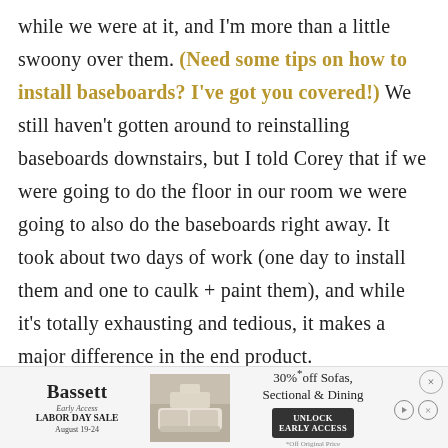while we were at it, and I'm more than a little swoony over them. (Need some tips on how to install baseboards? I've got you covered!) We still haven't gotten around to reinstalling baseboards downstairs, but I told Corey that if we were going to do the floor in our room we were going to also do the baseboards right away. It took about two days of work (one day to install them and one to caulk + paint them), and while it's totally exhausting and tedious, it makes a major difference in the end product.
[Figure (other): Advertisement banner for Bassett furniture store. Shows 'Early Access LABOR DAY SALE August 19-24', a room photo with sofa, text '30% off Sofas, Sectional & Dining', and an 'UNLOCK EARLY ACCESS' button. Also has play and close icons.]